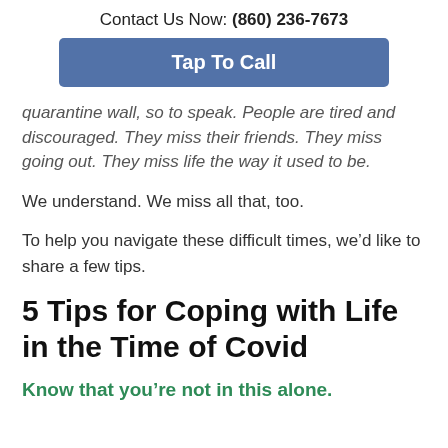Contact Us Now: (860) 236-7673
Tap To Call
quarantine wall, so to speak. People are tired and discouraged. They miss their friends. They miss going out. They miss life the way it used to be.
We understand. We miss all that, too.
To help you navigate these difficult times, we’d like to share a few tips.
5 Tips for Coping with Life in the Time of Covid
Know that you’re not in this alone.